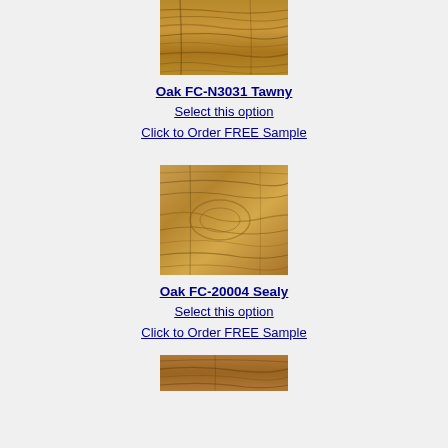[Figure (photo): Wood texture swatch for Oak FC-N3031 Tawny — medium brown oak grain pattern]
Oak FC-N3031 Tawny
Select this option
Click to Order FREE Sample
[Figure (photo): Wood texture swatch for Oak FC-20004 Sealy — lighter warm brown oak grain pattern]
Oak FC-20004 Sealy
Select this option
Click to Order FREE Sample
[Figure (photo): Wood texture swatch for a third oak product — medium warm brown oak grain, partially visible]